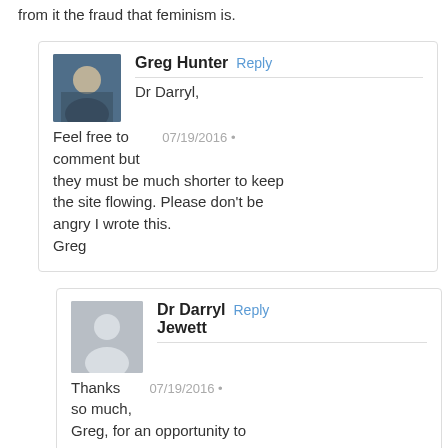from it the fraud that feminism is.
Greg Hunter
Dr Darryl,
07/19/2016
Feel free to comment but they must be much shorter to keep the site flowing. Please don't be angry I wrote this.
Greg
Dr Darryl Jewett
Thanks so much,
Greg, for an opportunity to
07/19/2016